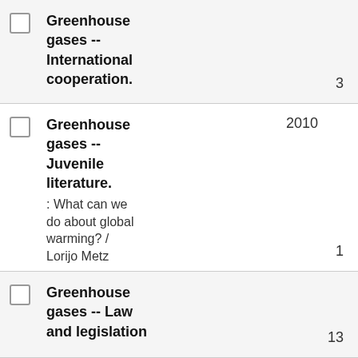Greenhouse gases -- International cooperation.  3
Greenhouse gases -- Juvenile literature. 2010  1  : What can we do about global warming? / Lorijo Metz
Greenhouse gases -- Law and legislation  13